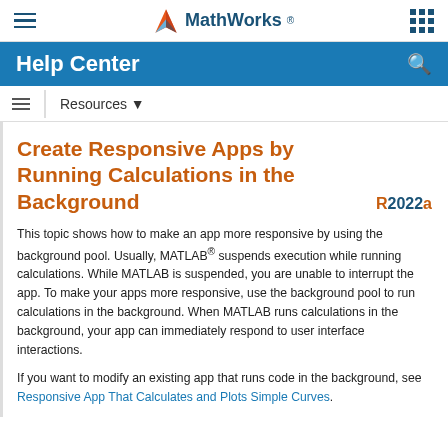MathWorks
Help Center
Resources
Create Responsive Apps by Running Calculations in the Background
This topic shows how to make an app more responsive by using the background pool. Usually, MATLAB® suspends execution while running calculations. While MATLAB is suspended, you are unable to interrupt the app. To make your apps more responsive, use the background pool to run calculations in the background. When MATLAB runs calculations in the background, your app can immediately respond to user interface interactions.
If you want to modify an existing app that runs code in the background, see Responsive App That Calculates and Plots Simple Curves.